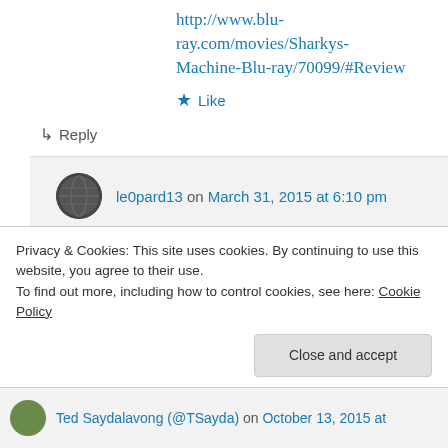http://www.blu-ray.com/movies/Sharkys-Machine-Blu-ray/70099/#Review
★ Like
↳ Reply
le0pard13 on March 31, 2015 at 6:10 pm
Yeah, fantastic news. Found out just last month about this Blu-ray. Thanks for the link. 🙂
Privacy & Cookies: This site uses cookies. By continuing to use this website, you agree to their use.
To find out more, including how to control cookies, see here: Cookie Policy
Close and accept
Ted Saydalavong (@TSayda) on October 13, 2015 at